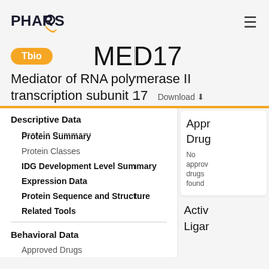PHAROS
MED17
Tbio
Mediator of RNA polymerase II transcription subunit 17  Download
Descriptive Data
Protein Summary
Protein Classes
IDG Development Level Summary
Expression Data
Protein Sequence and Structure
Related Tools
Behavioral Data
Approved Drugs
Approved Drugs
No approved drugs found
Active
Ligands